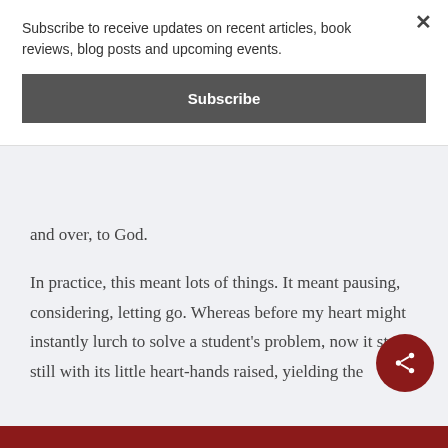Subscribe to receive updates on recent articles, book reviews, blog posts and upcoming events.
Subscribe
and over, to God.
In practice, this meant lots of things. It meant pausing, considering, letting go. Whereas before my heart might instantly lurch to solve a student's problem, now it stood still with its little heart-hands raised, yielding the
problem around. Whereas before I